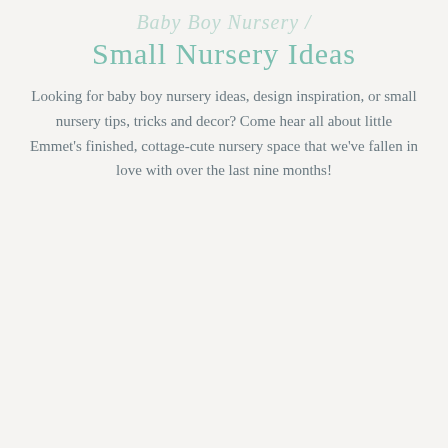Baby Boy Nursery / Small Nursery Ideas
Looking for baby boy nursery ideas, design inspiration, or small nursery tips, tricks and decor? Come hear all about little Emmet's finished, cottage-cute nursery space that we've fallen in love with over the last nine months!
[Figure (photo): A date badge circle showing MAR 07 overlaid on a nursery room photo featuring a framed black-and-white photo on a warm beige wall, a white macrame or sculptural wall hanging, a floating shelf, stacked teal/green books, and a small floral arrangement at the bottom right.]